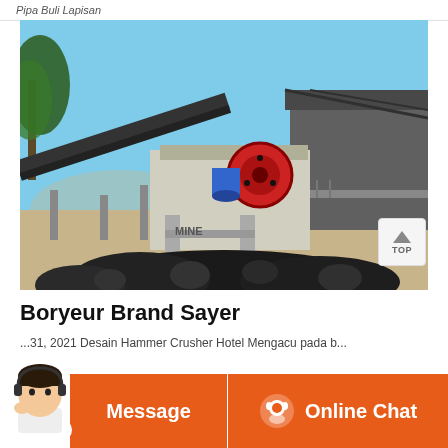Pipa Buli Lapisan
[Figure (photo): Outdoor industrial stone crushing / screening plant with conveyor belts, jaw crusher with red wheel, metal frame structures, pile of dark rocks in foreground, arid landscape and trees in background under clear blue sky.]
Boryeur Brand Sayer
...31, 2021 Desain Hammer Crusher Hotel Mengacu pada b...
Message | Online Chat (chat bar UI)